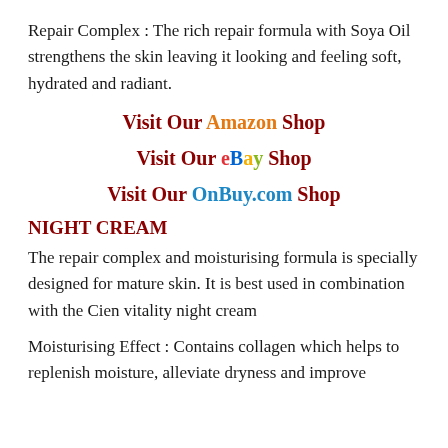Repair Complex : The rich repair formula with Soya Oil strengthens the skin leaving it looking and feeling soft, hydrated and radiant.
Visit Our Amazon Shop
Visit Our eBay Shop
Visit Our OnBuy.com Shop
NIGHT CREAM
The repair complex and moisturising formula is specially designed for mature skin. It is best used in combination with the Cien vitality night cream
Moisturising Effect : Contains collagen which helps to replenish moisture, alleviate dryness and improve